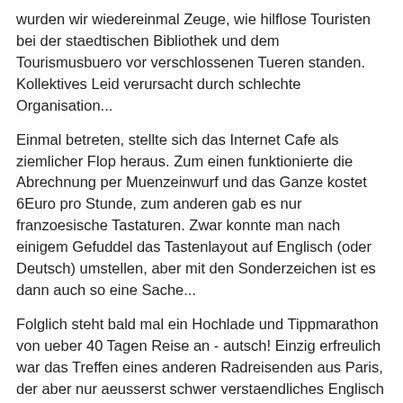wurden wir wiedereinmal Zeuge, wie hilflose Touristen bei der staedtischen Bibliothek und dem Tourismusbuero vor verschlossenen Tueren standen. Kollektives Leid verursacht durch schlechte Organisation...
Einmal betreten, stellte sich das Internet Cafe als ziemlicher Flop heraus. Zum einen funktionierte die Abrechnung per Muenzeinwurf und das Ganze kostet 6Euro pro Stunde, zum anderen gab es nur franzoesische Tastaturen. Zwar konnte man nach einigem Gefuddel das Tastenlayout auf Englisch (oder Deutsch) umstellen, aber mit den Sonderzeichen ist es dann auch so eine Sache...
Folglich steht bald mal ein Hochlade und Tippmarathon von ueber 40 Tagen Reise an - autsch! Einzig erfreulich war das Treffen eines anderen Radreisenden aus Paris, der aber nur aeusserst schwer verstaendliches Englisch sprach und sich deshalb recht schnell wieder gen Marokko auf den Weg machte. Zu guter letzt fahren wir bei unglaublich diesigem Wetter den ausgezeichneten Strandradweg weiter und bauten unser Lager vor einer Riesenduene auf. Fahren bei dem Wetter war - wie Soeren so schoen sagte - "als sei die